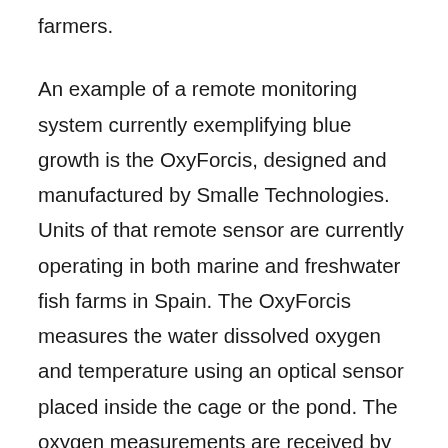farmers.
An example of a remote monitoring system currently exemplifying blue growth is the OxyForcis, designed and manufactured by Smalle Technologies. Units of that remote sensor are currently operating in both marine and freshwater fish farms in Spain. The OxyForcis measures the water dissolved oxygen and temperature using an optical sensor placed inside the cage or the pond. The oxygen measurements are received by an electronic unit placed outside the water, firmly attached to the pond walls or cage structure, which is contained in a sealed box and self-powered using a small solar panel. The data can be recorded in that unit and sent to a remote server